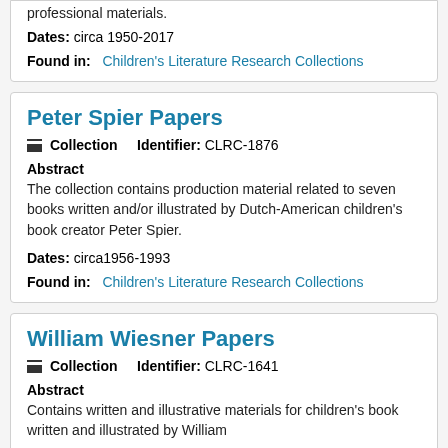professional materials.
Dates: circa 1950-2017
Found in: Children's Literature Research Collections
Peter Spier Papers
Collection   Identifier: CLRC-1876
Abstract
The collection contains production material related to seven books written and/or illustrated by Dutch-American children's book creator Peter Spier.
Dates: circa1956-1993
Found in: Children's Literature Research Collections
William Wiesner Papers
Collection   Identifier: CLRC-1641
Abstract
Contains written and illustrative materials for children's book written and illustrated by William